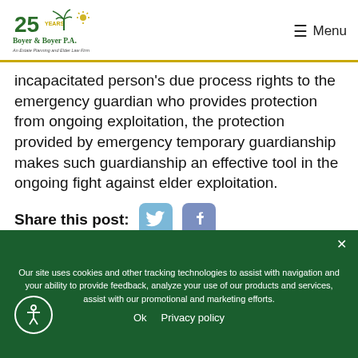Boyer & Boyer P.A. — An Estate Planning and Elder Law Firm | Menu
incapacitated person's due process rights to the emergency guardian who provides protection from ongoing exploitation, the protection provided by emergency temporary guardianship makes such guardianship an effective tool in the ongoing fight against elder exploitation.
Share this post:
Our site uses cookies and other tracking technologies to assist with navigation and your ability to provide feedback, analyze your use of our products and services, assist with our promotional and marketing efforts.
Ok  Privacy policy